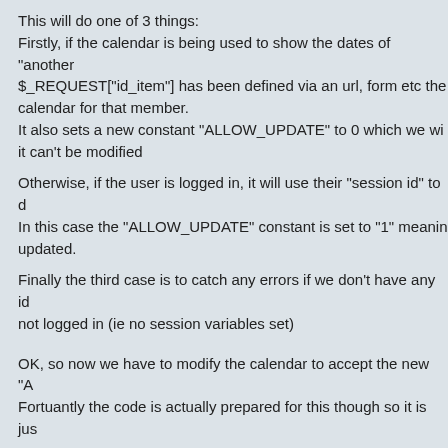This will do one of 3 things:
Firstly, if the calendar is being used to show the dates of "another" member, if $_REQUEST["id_item"] has been defined via an url, form etc then we display the calendar for that member.
It also sets a new constant "ALLOW_UPDATE" to 0 which we will use later to show it can't be modified
Otherwise, if the user is logged in, it will use their "session id" to display their own calendar.
In this case the "ALLOW_UPDATE" constant is set to "1" meaning the calendar can be updated.
Finally the third case is to catch any errors if we don't have any id or the user is not logged in (ie no session variables set)
OK, so now we have to modify the calendar to accept the new "A...
Fortuantly the code is actually prepared for this though so it is jus...
| CODE: SELECT ALL |
| --- |
| draw_cal(ID_ITEM,$val["month"], $val["year"], $booke... |
and replacing it with this: